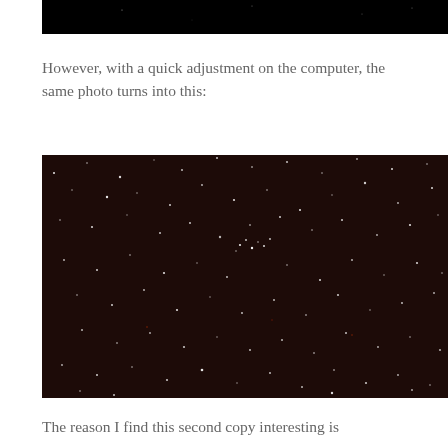[Figure (photo): Top portion of a nearly black night sky photo showing almost no visible stars — very dark/underexposed image]
However, with a quick adjustment on the computer, the same photo turns into this:
[Figure (photo): Adjusted night sky photo showing many visible stars against a dark reddish-brown background — same photo with brightness/contrast adjustment revealing numerous stars]
The reason I find this second copy interesting is